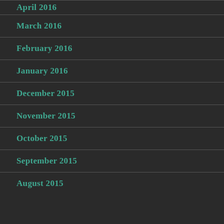April 2016
March 2016
February 2016
January 2016
December 2015
November 2015
October 2015
September 2015
August 2015